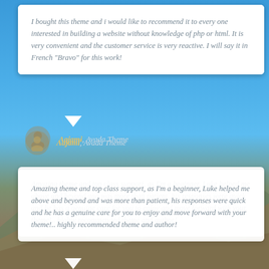I bought this theme and i would like to recommend it to every one interested in building a website without knowledge of php or html. It is very convenient and the customer service is very reactive. I will say it in French "Bravo" for this work!
Aajami, Avada Theme
Amazing theme and top class support, as I'm a beginner, Luke helped me above and beyond and was more than patient, his responses were quick and he has a genuine care for you to enjoy and move forward with your theme!.. highly recommended theme and author!
Lucagriffin, Avada Theme
Let me say something. You have an amazing theme and amazing/awesome support. They helped me on weekend. This is what I call an "extra mile" in customer relationship. So I gave 5 stars